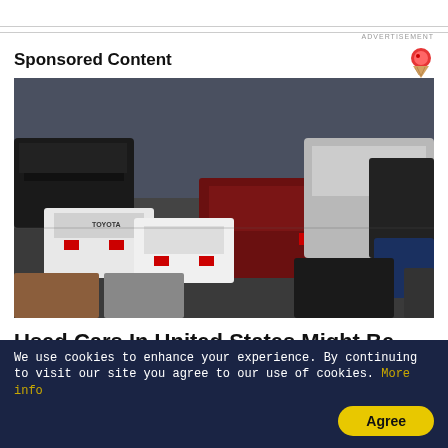ADVERTISEMENT
Sponsored Content
[Figure (photo): Aerial or elevated view of a crowded used car lot with many vehicles parked tightly together, including SUVs and sedans, one white Toyota visible among the cars.]
Used Cars In United States Might Be Cheaper Than You Think
Search Ads
We use cookies to enhance your experience. By continuing to visit our site you agree to our use of cookies. More info